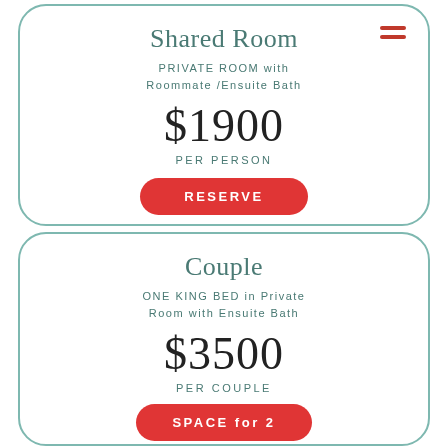Shared Room
PRIVATE ROOM with Roommate /Ensuite Bath
$1900
PER PERSON
RESERVE
Couple
ONE KING BED in Private Room with Ensuite Bath
$3500
PER COUPLE
SPACE for 2